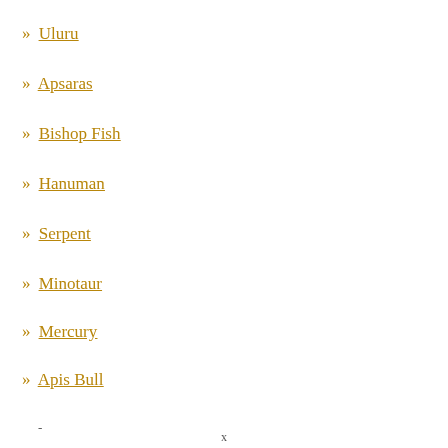» Uluru
» Apsaras
» Bishop Fish
» Hanuman
» Serpent
» Minotaur
» Mercury
» Apis Bull
-
x